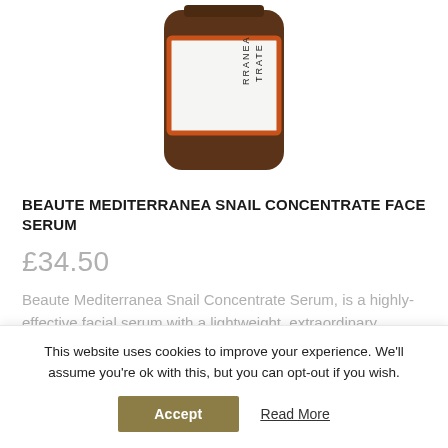[Figure (photo): Amber glass bottle of Beaute Mediterranea Snail Concentrate Face Serum with orange label, shown from above, partially cropped]
BEAUTE MEDITERRANEA SNAIL CONCENTRATE FACE SERUM
£34.50
Beaute Mediterranea Snail Concentrate Serum, is a highly-effective facial serum with a lightweight, extraordinary smooth and silky texture
This website uses cookies to improve your experience. We'll assume you're ok with this, but you can opt-out if you wish. Accept  Read More